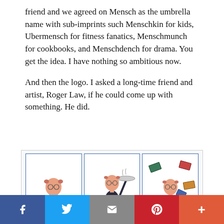friend and we agreed on Mensch as the umbrella name with sub-imprints such Menschkin for kids, Ubermensch for fitness fanatics, Menschmunch for cookbooks, and Menschdench for drama. You get the idea. I have nothing so ambitious now.
And then the logo. I asked a long-time friend and artist, Roger Law, if he could come up with something. He did.
[Figure (illustration): Three cartoon illustrations by Roger Law showing a caricature man in a tuxedo: left panel — standing arms open on a stack of books; center panel — carrying a steaming platter as a waiter; right panel — surrounded by flying books.]
Facebook | Twitter | Email | Pinterest | More